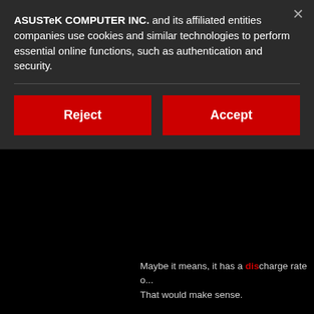ASUSTeK COMPUTER INC. and its affiliated entities companies use cookies and similar technologies to perform essential online functions, such as authentication and security.
Reject
Accept
Maybe it means, it has a discharge rate o... That would make sense.
Therefore i think it is a mainbord problem... Do you have a schematic of the pinout fro...
Perhaps the temperature of the battery in... correctly?
But i honestly believe it's the voltage or ca...
Because normally, when the performance... don't shut down Windows, the laptop just...
What if the mainboard does not process t... at 70% that the battery is 0% charged an...
This problem has bugged me for ages bu...